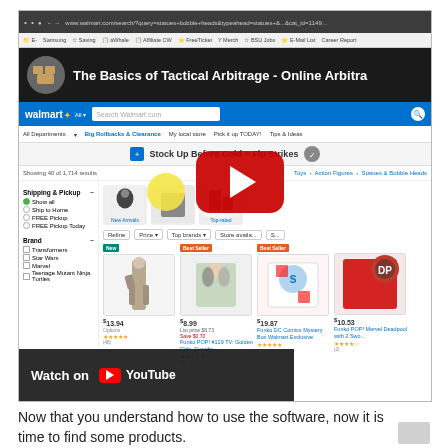[Figure (screenshot): Screenshot of a YouTube video titled 'The Basics of Tactical Arbitrage - Online Arbitrage' overlaid on a Walmart.com product listing page showing action figures and bobble heads. A YouTube play button is visible with a yellow cursor circle. A 'Watch on YouTube' bar appears at the bottom left of the screenshot.]
Now that you understand how to use the software, now it is time to find some products.
First we need to think about this realistically.